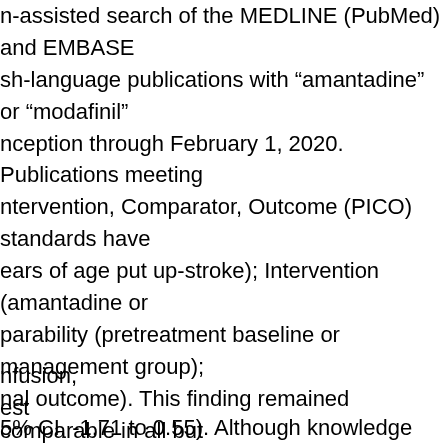n-assisted search of the MEDLINE (PubMed) and EMBASE sh-language publications with “amantadine” or “modafinil” nception through February 1, 2020. Publications meeting ntervention, Comparator, Outcome (PICO) standards have ears of age put up-stroke); Intervention (amantadine or parability (pretreatment baseline or management group); nal outcome). This finding remained comparable in all but hen the one RCT in acutely ailing patients was excluded, cally vital (SMD, -0.17; 95% CI, -0.51 to 0.06). The absolute ll: just 0.27 points on the PANSS-N (6 RCTs).
nfusion,
est
5% CI, -1.71 to 0.55). Although knowledge were limited, wsiness, adversarial events, and drop out charges didn’t